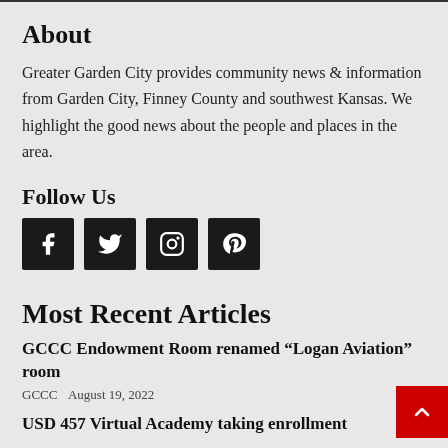About
Greater Garden City provides community news & information from Garden City, Finney County and southwest Kansas. We highlight the good news about the people and places in the area.
Follow Us
[Figure (infographic): Four social media icon buttons: Facebook (f), Twitter (bird), Instagram (camera), Pinterest (p) — white icons on black square backgrounds]
Most Recent Articles
GCCC Endowment Room renamed “Logan Aviation” room
GCCC  August 19, 2022
USD 457 Virtual Academy taking enrollment